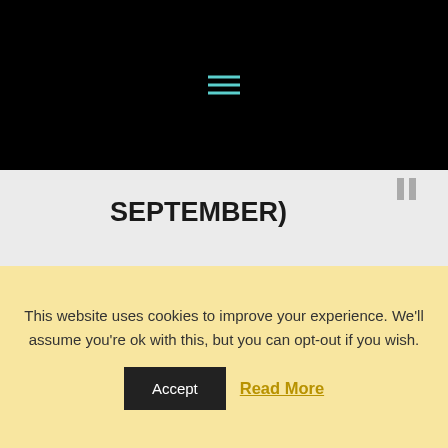[Figure (screenshot): Black header navigation area with a teal/turquoise hamburger menu icon (three horizontal lines)]
SEPTEMBER)
Step out of your day-to-day routines and into a stunning environment, be surrounded by a group of driven and passionate people. Just 90 minutes outside of Barcelona, in the national park of
This website uses cookies to improve your experience. We'll assume you're ok with this, but you can opt-out if you wish.
Accept   Read More